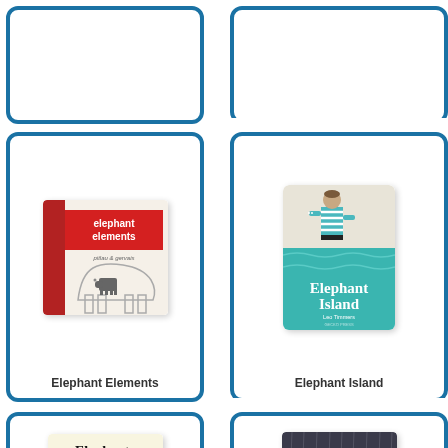[Figure (other): Top-left book card (partially visible, cut off at top)]
[Figure (other): Top-right book card (partially visible, cut off at top)]
[Figure (illustration): Book cover: Elephant Elements by pitiau & gervais. Red spine, red banner title, large elephant outline in background, small elephant illustration below.]
Elephant Elements
[Figure (illustration): Book cover: Elephant Island by Leo Timmers. Teal/turquoise water background, child figure in striped sweater standing in water, white title text.]
Elephant Island
[Figure (illustration): Book cover: Elephants Never Forget! Cream background with elephant illustration.]
[Figure (illustration): Book cover: Elephant's Umbrella. Dark rainy background with colorful umbrella.]